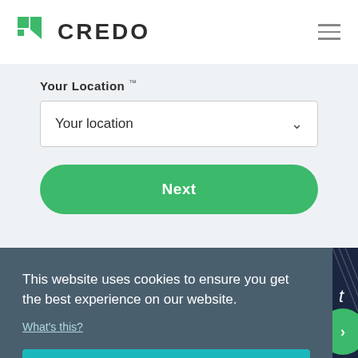[Figure (logo): CREDO logo: green stylized flag/bookmark icon on left, CREDO text in dark bold caps]
Your Location
Your location
Next
This website uses cookies to ensure you get the best experience on our website.
What's this?
Got it